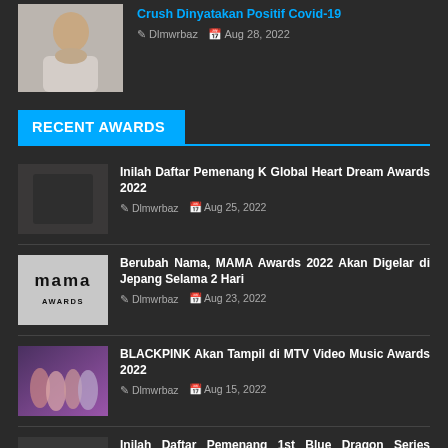[Figure (photo): Person photo thumbnail (partially cut off at top)]
Crush Dinyatakan Positif Covid-19
Dlmwrbaz  Aug 28, 2022
RECENT AWARDS
[Figure (photo): Dark thumbnail for K Global Heart Dream Awards article]
Inilah Daftar Pemenang K Global Heart Dream Awards 2022
Dlmwrbaz  Aug 25, 2022
[Figure (logo): MAMA Awards logo on grey background]
Berubah Nama, MAMA Awards 2022 Akan Digelar di Jepang Selama 2 Hari
Dlmwrbaz  Aug 23, 2022
[Figure (photo): BLACKPINK group photo thumbnail]
BLACKPINK Akan Tampil di MTV Video Music Awards 2022
Dlmwrbaz  Aug 15, 2022
[Figure (photo): Dark thumbnail for 1st Blue Dragon Series Awards article]
Inilah Daftar Pemenang 1st Blue Dragon Series Awards 2022